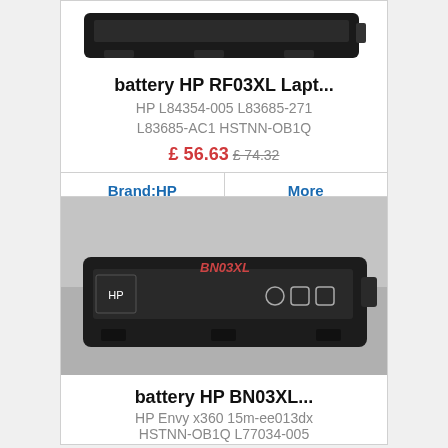[Figure (photo): Partial top of a laptop battery product image (HP RF03XL), cropped at top]
battery HP RF03XL Lapt...
HP L84354-005 L83685-271 L83685-AC1 HSTNN-OB1Q
£ 56.63 £ 74.32
Brand:HP	More
[Figure (photo): Photo of HP BN03XL laptop battery on a grey surface, text BN03XL visible on the battery]
battery HP BN03XL...
HP Envy x360 15m-ee013dx HSTNN-OB1Q L77034-005